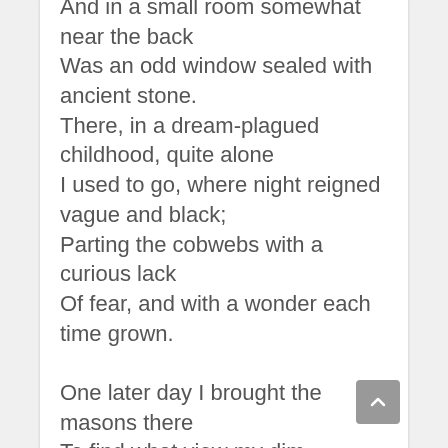And in a small room somewhat near the back
Was an odd window sealed with ancient stone.
There, in a dream-plagued childhood, quite alone
I used to go, where night reigned vague and black;
Parting the cobwebs with a curious lack
Of fear, and with a wonder each time grown.

One later day I brought the masons there
To find what view my dim forbears